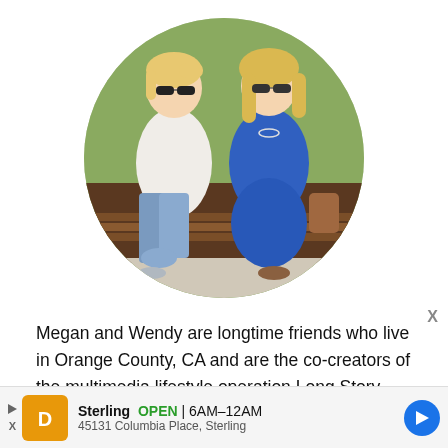[Figure (photo): Circular cropped photo of two women sitting on a wooden bench outdoors. The woman on the left wears a white top and jeans with flat shoes and sunglasses. The woman on the right wears a blue dress with sandals and sunglasses. Green grass is visible in the background.]
Megan and Wendy are longtime friends who live in Orange County, CA and are the co-creators of the multimedia lifestyle operation Long Story Short with
[Figure (infographic): Advertisement bar at the bottom: Sterling restaurant ad showing OPEN 6AM–12AM, 45131 Columbia Place, Sterling, with an orange logo, blue navigation arrow icon, and a close X button.]